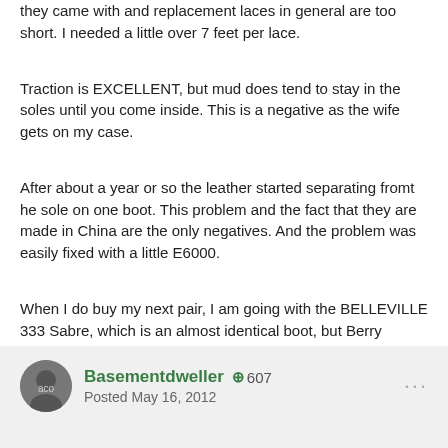they came with and replacement laces in general are too short. I needed a little over 7 feet per lace.
Traction is EXCELLENT, but mud does tend to stay in the soles until you come inside. This is a negative as the wife gets on my case.
After about a year or so the leather started separating fromt he sole on one boot. This problem and the fact that they are made in China are the only negatives. And the problem was easily fixed with a little E6000.
When I do buy my next pair, I am going with the BELLEVILLE 333 Sabre, which is an almost identical boot, but Berry compliant.
Basementdweller  +607
Posted May 16, 2012